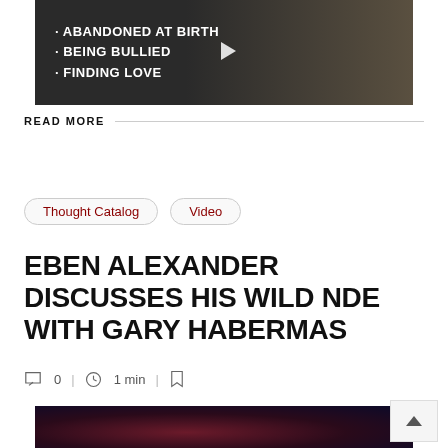[Figure (screenshot): Video thumbnail with dark background showing text bullets: ABANDONED AT BIRTH, BEING BULLIED, FINDING LOVE with a play button overlay]
READ MORE
Thought Catalog  Video
EBEN ALEXANDER DISCUSSES HIS WILD NDE WITH GARY HABERMAS
0  |  1 min  |
[Figure (photo): Partial photo of people at the bottom of the page with dark reddish background]